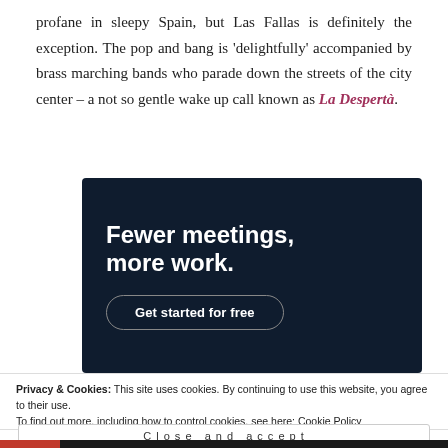profane in sleepy Spain, but Las Fallas is definitely the exception. The pop and bang is 'delightfully' accompanied by brass marching bands who parade down the streets of the city center – a not so gentle wake up call known as La Despertà.
[Figure (other): Advertisement banner with dark navy background. Large bold white text reads 'Fewer meetings, more work.' with a rounded button labeled 'Get started for free'.]
Privacy & Cookies: This site uses cookies. By continuing to use this website, you agree to their use.
To find out more, including how to control cookies, see here: Cookie Policy
Close and accept